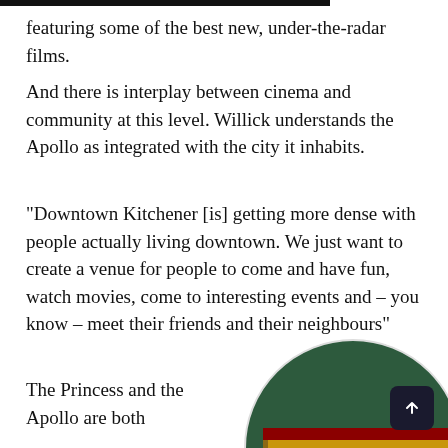featuring some of the best new, under-the-radar films.
And there is interplay between cinema and community at this level. Willick understands the Apollo as integrated with the city it inhabits.
“Downtown Kitchener [is] getting more dense with people actually living downtown. We just want to create a venue for people to come and have fun, watch movies, come to interesting events and – you know – meet their friends and their neighbours”
The Princess and the Apollo are both
[Figure (photo): Circular cropped photo of a Princess cinema sign with ornate lettering reading PRINCESS, with a ticket booth sign below reading MOVIE & FILM ADMISSIONS, set against a dark green background.]